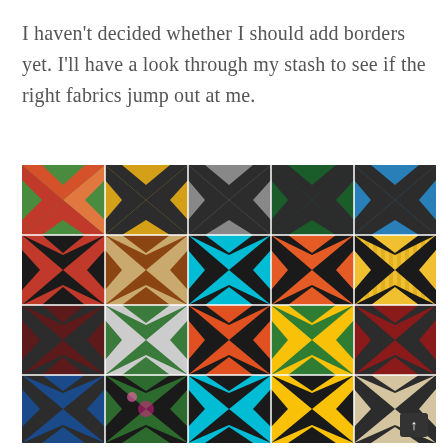I haven't decided whether I should add borders yet. I'll have a look through my stash to see if the right fabrics jump out at me.
[Figure (photo): A colorful patchwork quilt made of multiple square blocks, each featuring an X or pinwheel-star pattern in various bright fabrics including greens, yellows, blues, oranges, reds, and blacks arranged in a 5-column grid.]